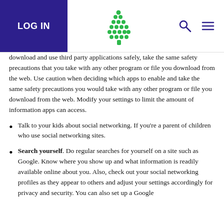LOG IN
download and use third party applications safely, take the same safety precautions that you take with any other program or file you download from the web. Use caution when deciding which apps to enable and take the same safety precautions you would take with any other program or file you download from the web. Modify your settings to limit the amount of information apps can access.
Talk to your kids about social networking. If you’re a parent of children who use social networking sites.
Search yourself. Do regular searches for yourself on a site such as Google. Know where you show up and what information is readily available online about you. Also, check out your social networking profiles as they appear to others and adjust your settings accordingly for privacy and security. You can also set up a Google